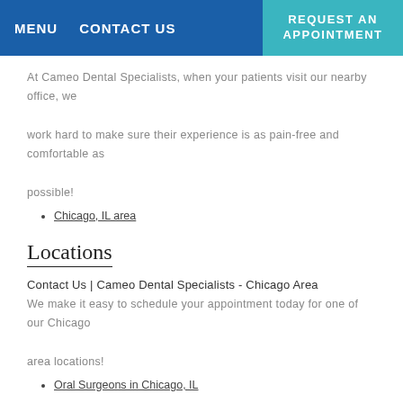MENU  CONTACT US  REQUEST AN APPOINTMENT
At Cameo Dental Specialists, when your patients visit our nearby office, we work hard to make sure their experience is as pain-free and comfortable as possible!
Chicago, IL area
Locations
Contact Us | Cameo Dental Specialists - Chicago Area
We make it easy to schedule your appointment today for one of our Chicago area locations!
Oral Surgeons in Chicago, IL
Review Us
Review Us | Cameo Dental Specialists - Chicago, IL
At Cameo Dental Specialists, we strive to offer our Chicago...